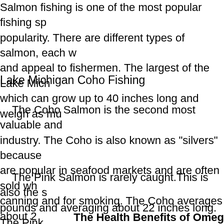Salmon fishing is one of the most popular fishing sp popularity. There are different types of salmon, each w and appeal to fishermen. The largest of the Lake Mich which can grow up to 40 inches long and weigh as mu
Lake Michigan Coho Fishing
The Coho Salmon is the second most valuable and industry. The Coho is also known as "silvers" because are popular in seafood markets and are often sold wh canning and for smoking. The Coho averages about 2 pounds.
The Pink Salmon is rarely caught.This is also the s pounds and averaging about 22 inches long. The Pink salmon, and it is found in the least abundance. Pink s not for eating fresh over the coals.
Chinook Salmon Fishing.
The Health Benefits of Omeg